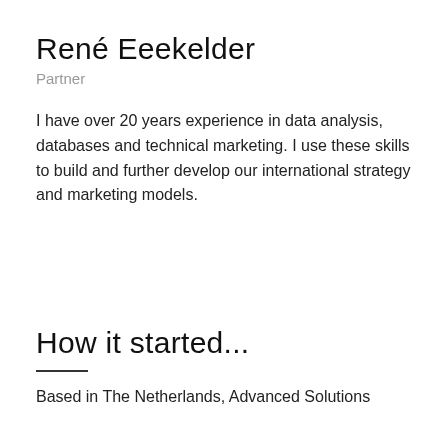René Eeekelder
Partner
I have over 20 years experience in data analysis, databases and technical marketing. I use these skills to build and further develop our international strategy and marketing models.
How it started...
Based in The Netherlands, Advanced Solutions